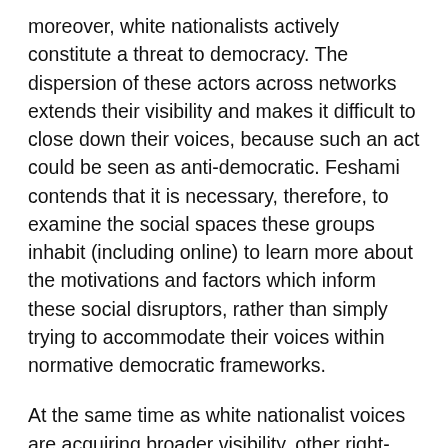moreover, white nationalists actively constitute a threat to democracy. The dispersion of these actors across networks extends their visibility and makes it difficult to close down their voices, because such an act could be seen as anti-democratic. Feshami contends that it is necessary, therefore, to examine the social spaces these groups inhabit (including online) to learn more about the motivations and factors which inform these social disruptors, rather than simply trying to accommodate their voices within normative democratic frameworks.
At the same time as white nationalist voices are acquiring broader visibility, other right-wing actors are actively gaining political legitimacy. One of the more high-profile voices, which appears to have been legitimized by contemporary political events, is that of Dutch politician Wilders, infamous for his Islamophobic position. Muis, van Schie, Wieringa and de Winkel analyze the Twitter feed of Wilders during the 2017 elections to demonstrate how he both uses 'facts' (in the form of statistics) to legitimize his views on race and ethnicity, whilst